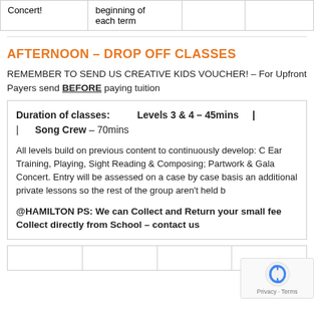| Concert! | beginning of
each term |  |  |
AFTERNOON – DROP OFF CLASSES
REMEMBER TO SEND US CREATIVE KIDS VOUCHER! – For Upfront Payers send BEFORE paying tuition
Duration of classes:   Levels 3 & 4 – 45mins  |  | Song Crew – 70mins

All levels build on previous content to continuously develop: C Ear Training, Playing, Sight Reading & Composing; Partwork & Gala Concert. Entry will be assessed on a case by case basis an additional private lessons so the rest of the group aren't held b

@HAMILTON PS: We can Collect and Return your small fee Collect directly from School – contact us
|  |  |  |  |